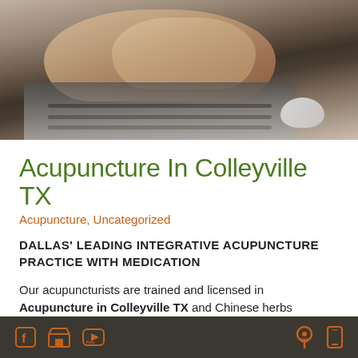[Figure (photo): Hands typing on a laptop keyboard with a mouse visible to the right, warm-toned photo]
Acupuncture In Colleyville TX
Acupuncture, Uncategorized
DALLAS' LEADING INTEGRATIVE ACUPUNCTURE PRACTICE WITH MEDICATION
Our acupuncturists are trained and licensed in Acupuncture in Colleyville TX and Chinese herbs
Social media and contact icons (Facebook, store, YouTube, location, mobile)